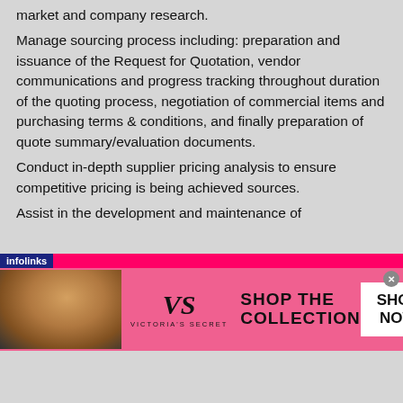market and company research.
Manage sourcing process including: preparation and issuance of the Request for Quotation, vendor communications and progress tracking throughout duration of the quoting process, negotiation of commercial items and purchasing terms & conditions, and finally preparation of quote summary/evaluation documents.
Conduct in-depth supplier pricing analysis to ensure competitive pricing is being achieved sources.
Assist in the development and maintenance of
[Figure (screenshot): Infolinks advertisement banner for Victoria's Secret featuring a model photo on the left, the VS logo in the center, 'SHOP THE COLLECTION' text, and a 'SHOP NOW' button on the right, with a pink/magenta background.]